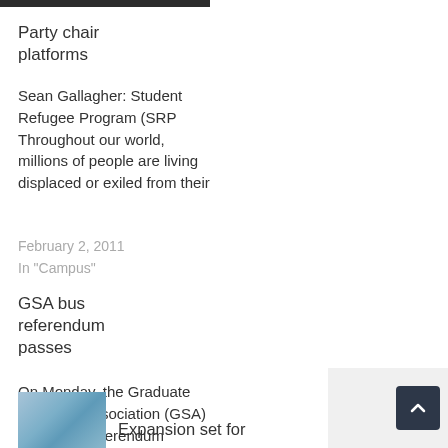Party chair platforms
Sean Gallagher: Student Refugee Program (SRP Throughout our world, millions of people are living displaced or exiled from their
February 2, 2011
In "Campus"
GSA bus referendum passes
On Monday, the Graduate Students' Association (GSA) voted in a referendum regarding changes to the Grand River Transit bus pass.
January 20, 2010
In "Campus"
Expansion set for